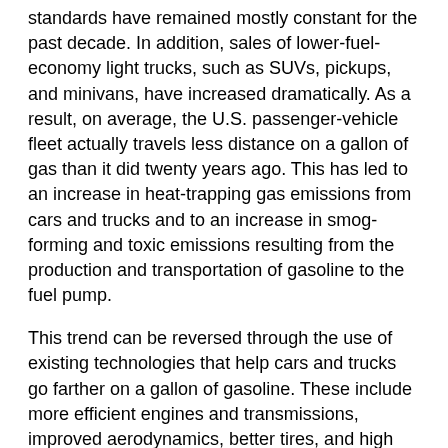standards have remained mostly constant for the past decade. In addition, sales of lower-fuel-economy light trucks, such as SUVs, pickups, and minivans, have increased dramatically. As a result, on average, the U.S. passenger-vehicle fleet actually travels less distance on a gallon of gas than it did twenty years ago. This has led to an increase in heat-trapping gas emissions from cars and trucks and to an increase in smog-forming and toxic emissions resulting from the production and transportation of gasoline to the fuel pump.
This trend can be reversed through the use of existing technologies that help cars and trucks go farther on a gallon of gasoline. These include more efficient engines and transmissions, improved aerodynamics, better tires, and high strength steel and aluminum.
More advanced technologies, such as hybrid-electric vehicles that use a gasoline engine and an electric motor plus a battery, can cut fuel use even further. These technologies carry with them additional costs, but pay for themselves through savings at the gasoline pump.